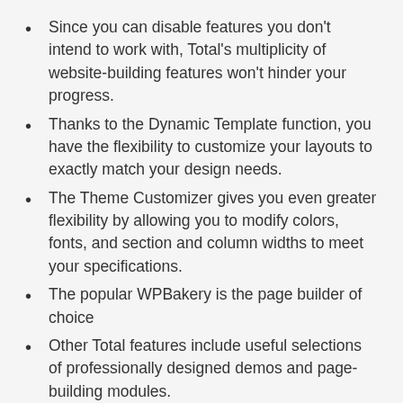Since you can disable features you don't intend to work with, Total's multiplicity of website-building features won't hinder your progress.
Thanks to the Dynamic Template function, you have the flexibility to customize your layouts to exactly match your design needs.
The Theme Customizer gives you even greater flexibility by allowing you to modify colors, fonts, and section and column widths to meet your specifications.
The popular WPBakery is the page builder of choice
Other Total features include useful selections of professionally designed demos and page-building modules.
To learn more about this drag and drop WooCommerce-friendly popular theme simply click on the banner.
3. Avada Theme